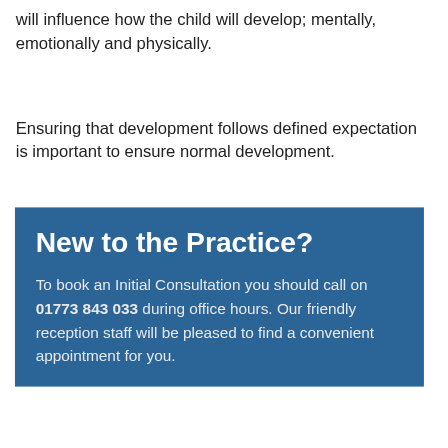will influence how the child will develop; mentally, emotionally and physically.
Ensuring that development follows defined expectation is important to ensure normal development.
New to the Practice?
To book an Initial Consultation you should call on 01773 843 033 during office hours. Our friendly reception staff will be pleased to find a convenient appointment for you.
Existing Patients:
Book your next appointment online by clicking the button below: